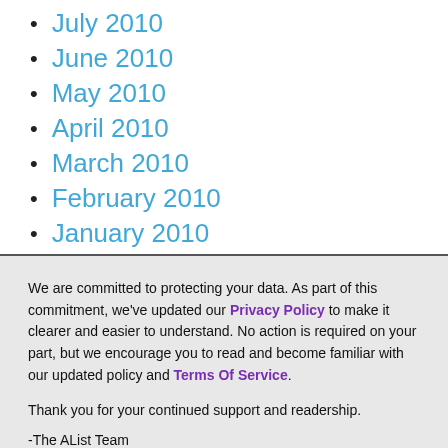July 2010
June 2010
May 2010
April 2010
March 2010
February 2010
January 2010
December 2009
We are committed to protecting your data. As part of this commitment, we've updated our Privacy Policy to make it clearer and easier to understand. No action is required on your part, but we encourage you to read and become familiar with our updated policy and Terms Of Service.
Thank you for your continued support and readership.
-The AList Team